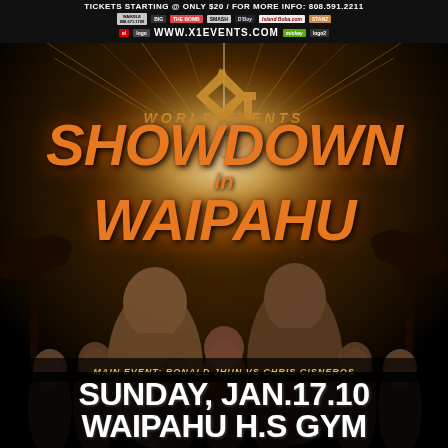TICKETS STARTING @ ONLY $20 / FOR MORE INFO: 808.591.2211
[Figure (logo): Sponsor logos row including Waikele, BIG, Bomb, Island Boba.com, D'Boy and others]
WWW.X1EVENTS.COM
[Figure (illustration): X1 World Events boxing/MMA promotional poster for Showdown in Waipahu event featuring fighters Ronald Jhun vs Chris Cisneros with golden burst background, fighters posed, palm trees silhouetted]
SHOWDOWN in WAIPAHU
MAIN EVENT: RONALD JHUN VS CHRIS CISNEROS
SUNDAY, JAN.17.10
WAIPAHU H.S GYM